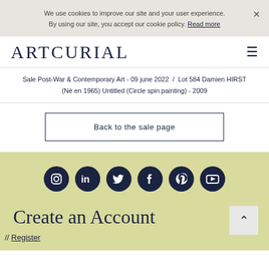We use cookies to improve our site and your user experience. By using our site, you accept our cookie policy. Read more
ARTCURIAL
Sale Post-War & Contemporary Art - 09 june 2022 / Lot 584 Damien HIRST (Né en 1965) Untitled (Circle spin painting) - 2009
Back to the sale page
[Figure (illustration): Row of 6 social media icons (Instagram, LinkedIn, Twitter, Facebook, Pinterest, YouTube) as dark navy circles on olive/yellow-green background]
Create an Account
// Register